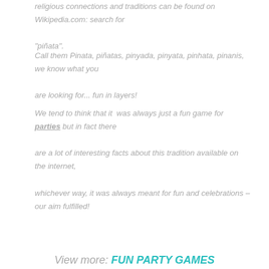religious connections and traditions can be found on Wikipedia.com: search for "piñata".
Call them Pinata, piñatas, pinyada, pinyata, pinhata, pinanis, we know what you are looking for... fun in layers!
We tend to think that it  was always just a fun game for parties but in fact there are a lot of interesting facts about this tradition available on the internet, whichever way, it was always meant for fun and celebrations – our aim fulfilled!
View more: FUN PARTY GAMES